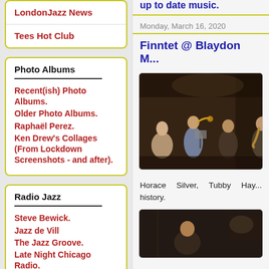LondonJazz News
Tees Hot Club
Photo Albums
Recent(ish) Photo Albums.
Older Photo Albums.
Raphaël Perez.
Ken Drew's Collages (From Lockdown Screenshots - and after).
Radio Jazz
Steve Bewick.
Jazz de Vill
The Jazz Groove.
Late Night Chicago Radio.
WBGO.
JazzFM
MYKINDAMUSIC (24/7).
Aycliffe Radio. (Sunday
up to date music.
Monday, March 16, 2020
Finntet @ Blaydon M...
[Figure (photo): Jazz band performing, multiple musicians with instruments including trumpet, in a dimly lit venue]
Horace Silver, Tubby Hay... history.
[Figure (photo): Second jazz photo, dark interior venue shot]